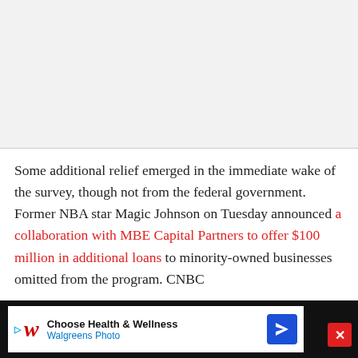[Figure (other): Gray blank area at top of page, likely an advertisement or image placeholder]
Some additional relief emerged in the immediate wake of the survey, though not from the federal government. Former NBA star Magic Johnson on Tuesday announced a collaboration with MBE Capital Partners to offer $100 million in additional loans to minority-owned businesses omitted from the program. CNBC
[Figure (other): Walgreens advertisement banner at bottom: Choose Health & Wellness - Walgreens Photo]